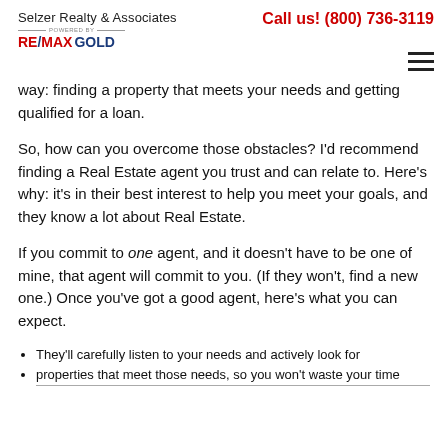Selzer Realty & Associates | POWERED BY RE/MAX GOLD | Call us! (800) 736-3119
way: finding a property that meets your needs and getting qualified for a loan.
So, how can you overcome those obstacles? I’d recommend finding a Real Estate agent you trust and can relate to. Here’s why: it’s in their best interest to help you meet your goals, and they know a lot about Real Estate.
If you commit to one agent, and it doesn’t have to be one of mine, that agent will commit to you. (If they won’t, find a new one.) Once you’ve got a good agent, here’s what you can expect.
They’ll carefully listen to your needs and actively look for
properties that meet those needs, so you won’t waste your time